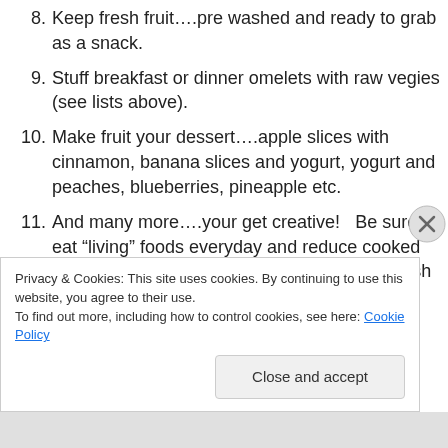8. Keep fresh fruit….pre washed and ready to grab as a snack.
9. Stuff breakfast or dinner omelets with raw vegies (see lists above).
10. Make fruit your dessert….apple slices with cinnamon, banana slices and yogurt, yogurt and peaches, blueberries, pineapple etc.
11. And many more….your get creative!   Be sure to eat “living” foods everyday and reduce cooked food portions.  Living foods are uncooked, fresh from the garden.
Privacy & Cookies: This site uses cookies. By continuing to use this website, you agree to their use.
To find out more, including how to control cookies, see here: Cookie Policy